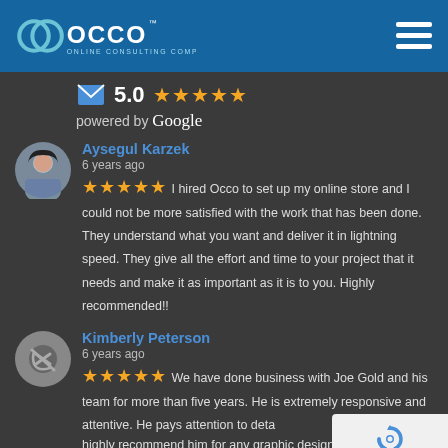OCCO Online Consulting Company
5.0 ★★★★★ powered by Google
Aysegul Karzek
6 years ago
★★★★★ I hired Occo to set up my online store and I could not be more satisfied with the work that has been done.  They understand what you want and deliver it in lightning speed. They give all the effort and time to your project that it needs and make it as important as it is to you. Highly recommended!!
Kimberly Peterson
6 years ago
★★★★★ We have done business with Joe Gold and his team for more than five years.  He is extremely responsive and attentive.  He pays attention to detail. I highly recommend him for any graphic design, website, copy/print jobs you require.  Pleasure to work with!